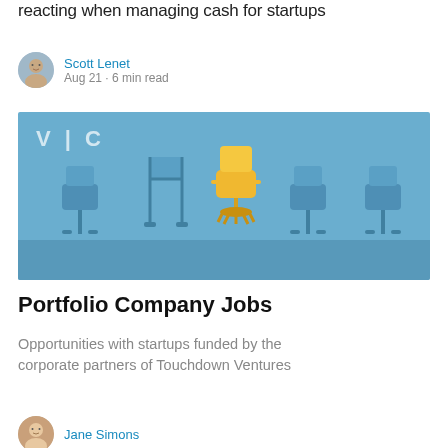reacting when managing cash for startups
Scott Lenet
Aug 21 · 6 min read
[Figure (photo): Blue background with a row of blue chairs and one yellow office chair in the center, with 'V|C' watermark in upper left corner]
Portfolio Company Jobs
Opportunities with startups funded by the corporate partners of Touchdown Ventures
Jane Simons